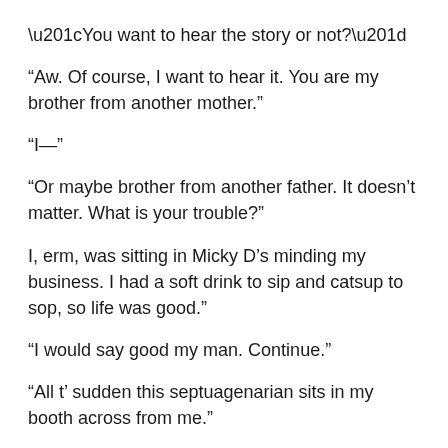“You want to hear the story or not?”
“Aw. Of course, I want to hear it. You are my brother from another mother.”
“I—”
“Or maybe brother from another father. It doesn’t matter. What is your trouble?”
I, erm, was sitting in Micky D’s minding my business. I had a soft drink to sip and catsup to sop, so life was good.”
“I would say good my man. Continue.”
“All t’ sudden this septuagenarian sits in my booth across from me.”
“What the hell is a septuagenarian?”